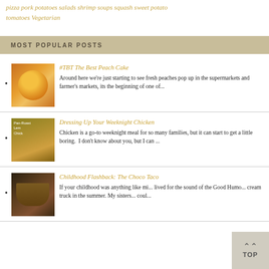pizza pork potatoes salads shrimp soups squash sweet potato tomatoes Vegetarian
MOST POPULAR POSTS
#TBT The Best Peach Cake — Around here we're just starting to see fresh peaches pop up in the supermarkets and farmer's markets, its the beginning of one of...
Dressing Up Your Weeknight Chicken — Chicken is a go-to weeknight meal for so many families, but it can start to get a little boring.  I don't know about you, but I can ...
Childhood Flashback: The Choco Taco — If your childhood was anything like mi... lived for the sound of the Good Humo... cream truck in the summer. My sisters... coul...